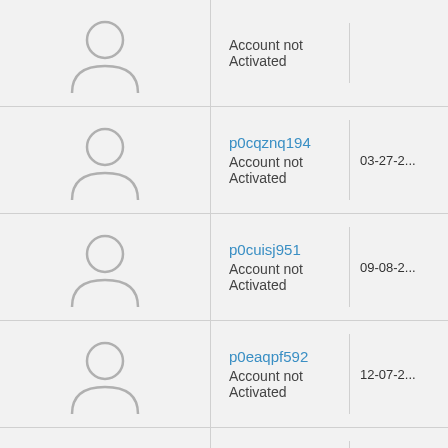| Avatar | Username/Status | Date |
| --- | --- | --- |
| [avatar] | Account not Activated |  |
| [avatar] | p0cqznq194
Account not Activated | 03-27-2... |
| [avatar] | p0cuisj951
Account not Activated | 09-08-2... |
| [avatar] | p0eaqpf592
Account not Activated | 12-07-2... |
| [avatar] | p0emwmm937
Account not Activated | 03-14-2... |
| [avatar] | p0etoqt846
Account not Activated | 06-06-2... |